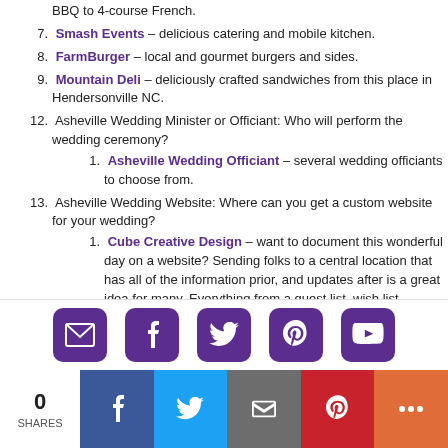BBQ to 4-course French.
7. Smash Events – delicious catering and mobile kitchen.
8. FarmBurger – local and gourmet burgers and sides.
9. Mountain Deli – deliciously crafted sandwiches from this place in Hendersonville NC.
12. Asheville Wedding Minister or Officiant: Who will perform the wedding ceremony?
1. Asheville Wedding Officiant – several wedding officiants to choose from.
13. Asheville Wedding Website: Where can you get a custom website for your wedding?
1. Cube Creative Design – want to document this wonderful day on a website? Sending folks to a central location that has all of the information prior, and updates after is a great idea for many. Everything from a guest list, wish list, wedding location details, photos and more can be posted regularly.
14. Asheville Wedding Lodging: Where will you and your guests
[Figure (infographic): Social sharing icon bar with email, Facebook, Twitter, Pinterest, and YouTube icons on purple rounded square buttons]
[Figure (infographic): Share count bar showing 0 SHARES, with Facebook (blue), Twitter (light blue), email (gray), Pinterest (red), and more (orange) share buttons]